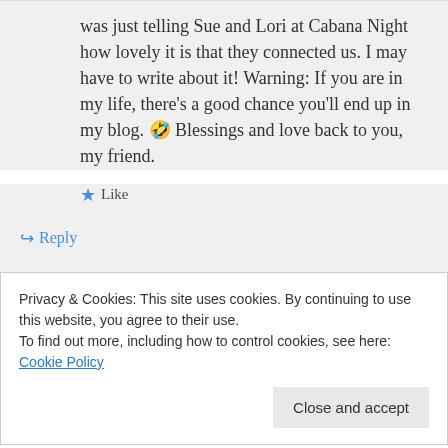was just telling Sue and Lori at Cabana Night how lovely it is that they connected us. I may have to write about it! Warning: If you are in my life, there’s a good chance you'll end up in my blog. 🤣 Blessings and love back to you, my friend.
Like
Reply
Candace Brown on May 4, 2019 at 12:56 AM
Privacy & Cookies: This site uses cookies. By continuing to use this website, you agree to their use.
To find out more, including how to control cookies, see here: Cookie Policy
Close and accept
this experience with you